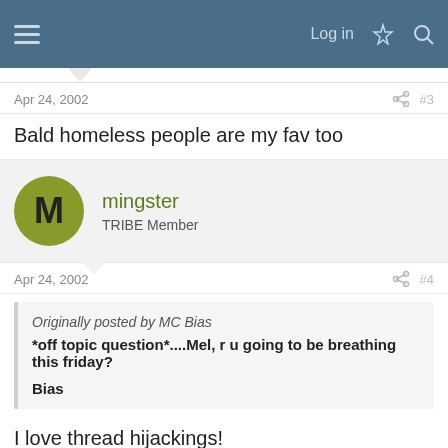Log in
Apr 24, 2002   #3
Bald homeless people are my fav too
mingster
TRIBE Member
Apr 24, 2002   #4
Originally posted by MC Bias
*off topic question*....Mel, r u going to be breathing this friday?

Bias
I love thread hijackings!
Yes, Toby. I am. 🙂